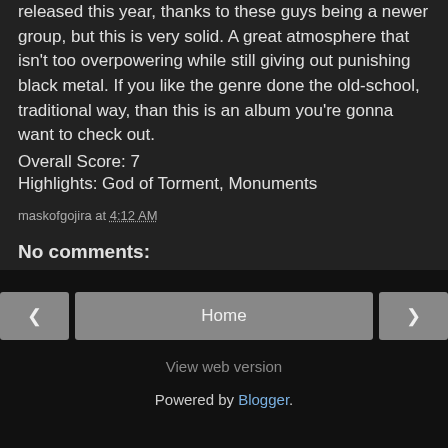released this year, thanks to these guys being a newer group, but this is very solid. A great atmosphere that isn't too overpowering while still giving out punishing black metal. If you like the genre done the old-school, traditional way, than this is an album you're gonna want to check out.
Overall Score: 7
Highlights: God of Torment, Monuments
maskofgojira at 4:12 AM
No comments:
Post a Comment
< Home > View web version Powered by Blogger.